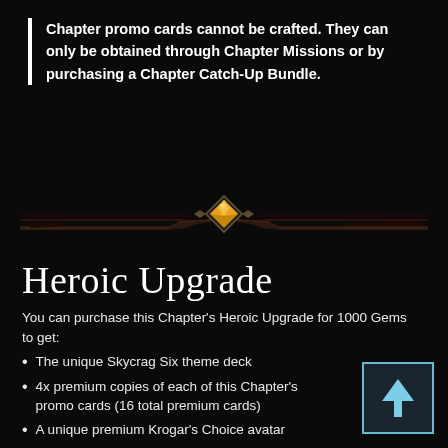Chapter promo cards cannot be crafted. They can only be obtained through Chapter Missions or by purchasing a Chapter Catch-Up Bundle.
[Figure (illustration): Decorative horizontal divider with ornate dark metalwork and a central golden diamond gem icon]
Heroic Upgrade
You can purchase this Chapter's Heroic Upgrade for 1000 Gems to get:
The unique Skycrag Six theme deck
4x premium copies of each of this Chapter's promo cards (16 total premium cards)
A unique premium Krogar's Choice avatar